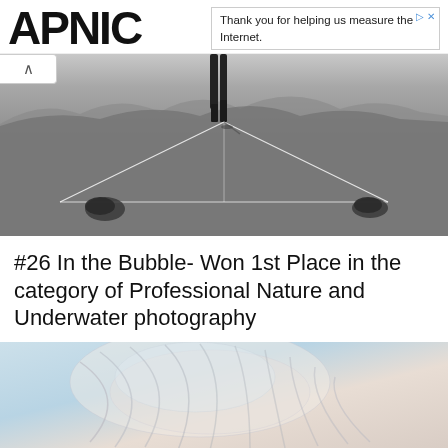APNIC
Thank you for helping us measure the Internet.
[Figure (photo): Black and white photo of a person walking in a vast desert landscape with geometric line overlay forming a triangle shape. Two dark rocks visible on the ground.]
#26 In the Bubble- Won 1st Place in the category of Professional Nature and Underwater photography
[Figure (photo): Color close-up photo of what appears to be a jellyfish or underwater organism with translucent, layered fins/membranes in soft pinks, whites, and blues.]